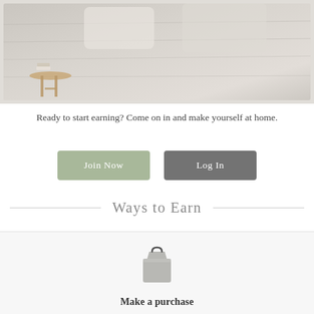[Figure (photo): Bedroom scene with quilted bedding in light grey/beige tones and a wooden side table with books and decor items]
Ready to start earning? Come on in and make yourself at home.
Join Now
Log In
Ways to Earn
[Figure (illustration): Shopping bag icon in grey]
Make a purchase